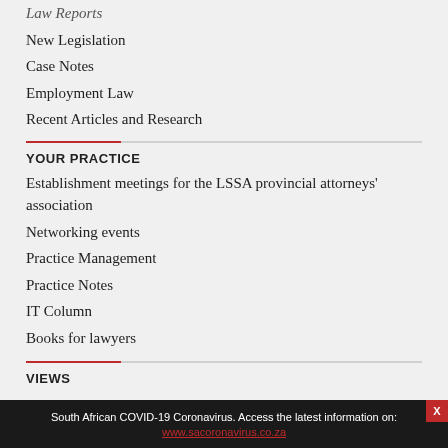Law Reports
New Legislation
Case Notes
Employment Law
Recent Articles and Research
YOUR PRACTICE
Establishment meetings for the LSSA provincial attorneys' association
Networking events
Practice Management
Practice Notes
IT Column
Books for lawyers
VIEWS
Editorial
South African COVID-19 Coronavirus. Access the latest information on: www.sacoronavirus.co.za